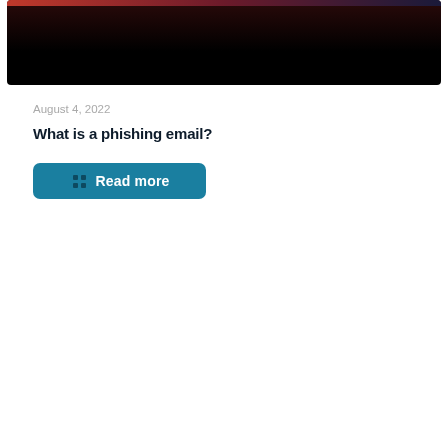[Figure (photo): Dark banner image with a gradient from deep red/purple at top to black, representing a cybersecurity or phishing themed article header image.]
August 4, 2022
What is a phishing email?
Read more